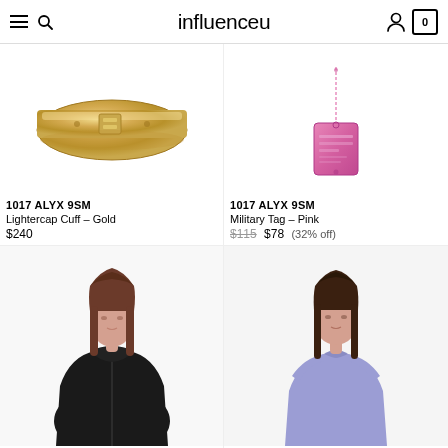influenceu
[Figure (photo): Gold bracelet cuff (Lightercap Cuff - Gold) on white background]
1017 ALYX 9SM
Lightercap Cuff - Gold
$240
[Figure (photo): Pink metal military tag necklace on thin chain on white background]
1017 ALYX 9SM
Military Tag - Pink
$115 $78 (32% off)
[Figure (photo): Female model wearing black zip-up hoodie/coat]
[Figure (photo): Female model wearing lavender/light purple fitted t-shirt]